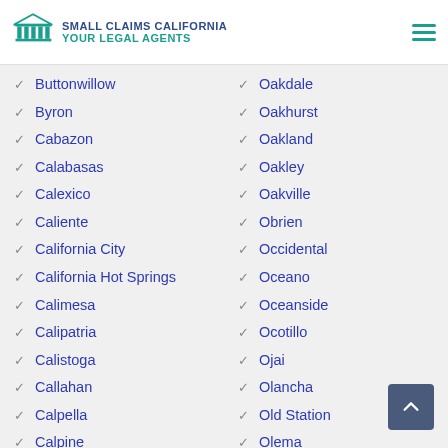Small Claims California — Your Legal Agents
Buttonwillow
Byron
Cabazon
Calabasas
Calexico
Caliente
California City
California Hot Springs
Calimesa
Calipatria
Calistoga
Callahan
Calpella
Calpine
Oakdale
Oakhurst
Oakland
Oakley
Oakville
Obrien
Occidental
Oceano
Oceanside
Ocotillo
Ojai
Olancha
Old Station
Olema